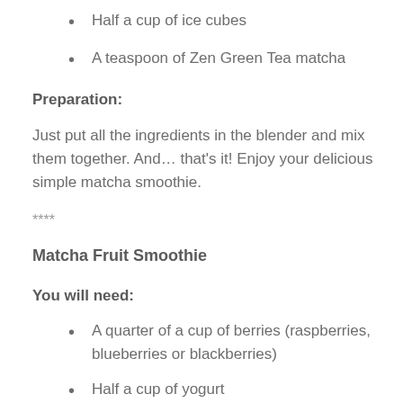Half a cup of ice cubes
A teaspoon of Zen Green Tea matcha
Preparation:
Just put all the ingredients in the blender and mix them together. And… that's it! Enjoy your delicious simple matcha smoothie.
****
Matcha Fruit Smoothie
You will need:
A quarter of a cup of berries (raspberries, blueberries or blackberries)
Half a cup of yogurt